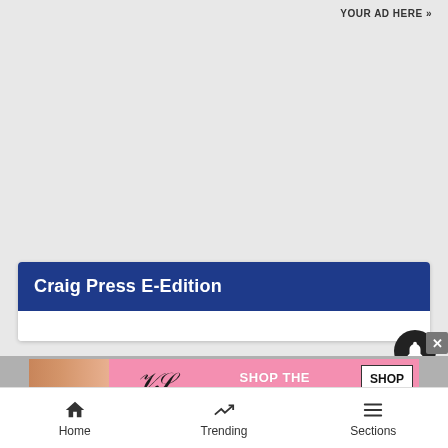YOUR AD HERE »
Craig Press E-Edition
[Figure (advertisement): Victoria's Secret advertisement showing model, VS logo, 'SHOP THE COLLECTION' text, and 'SHOP NOW' button on pink background]
Home  Trending  Sections